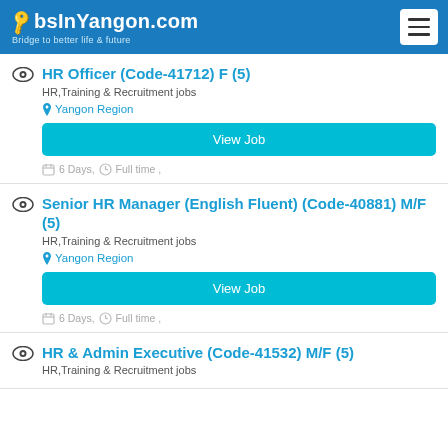JobsInYangon.com – Bridge to better life & future
HR Officer (Code-41712) F (5)
HR,Training & Recruitment jobs
Yangon Region
View Job
6 Days, Full time ,
Senior HR Manager (English Fluent) (Code-40881) M/F (5)
HR,Training & Recruitment jobs
Yangon Region
View Job
6 Days, Full time ,
HR & Admin Executive (Code-41532) M/F (5)
HR,Training & Recruitment jobs